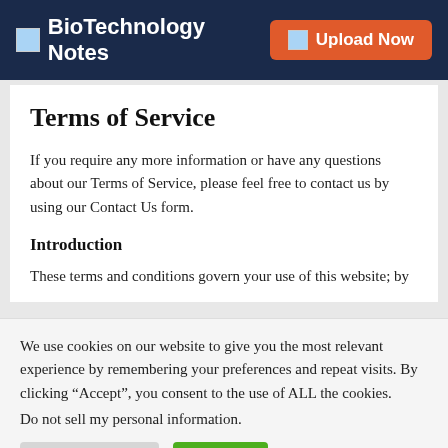BioTechnology Notes | Upload Now
Terms of Service
If you require any more information or have any questions about our Terms of Service, please feel free to contact us by using our Contact Us form.
Introduction
These terms and conditions govern your use of this website; by
We use cookies on our website to give you the most relevant experience by remembering your preferences and repeat visits. By clicking “Accept”, you consent to the use of ALL the cookies.
Do not sell my personal information.
Cookie Settings | Accept